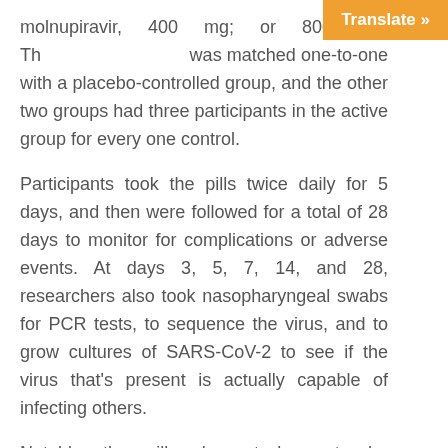molnupiravir, 400 mg; or 800 mg. The 200 mg group was matched one-to-one with a placebo-controlled group, and the other two groups had three participants in the active group for every one control.
Participants took the pills twice daily for 5 days, and then were followed for a total of 28 days to monitor for complications or adverse events. At days 3, 5, 7, 14, and 28, researchers also took nasopharyngeal swabs for PCR tests, to sequence the virus, and to grow cultures of SARS-CoV-2 to see if the virus that's present is actually capable of infecting others.
Notably, the pills do not have to be refrigerated at any point in the process, alleviating the cold-chain challenges that have plagued vaccines.
The researchers...